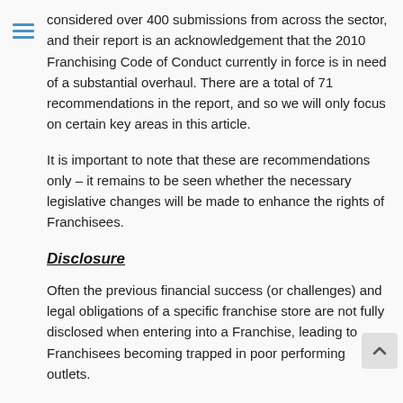considered over 400 submissions from across the sector, and their report is an acknowledgement that the 2010 Franchising Code of Conduct currently in force is in need of a substantial overhaul. There are a total of 71 recommendations in the report, and so we will only focus on certain key areas in this article.
It is important to note that these are recommendations only – it remains to be seen whether the necessary legislative changes will be made to enhance the rights of Franchisees.
Disclosure
Often the previous financial success (or challenges) and legal obligations of a specific franchise store are not fully disclosed when entering into a Franchise, leading to Franchisees becoming trapped in poor performing outlets.
At times, this can lead to Franchisees making costly